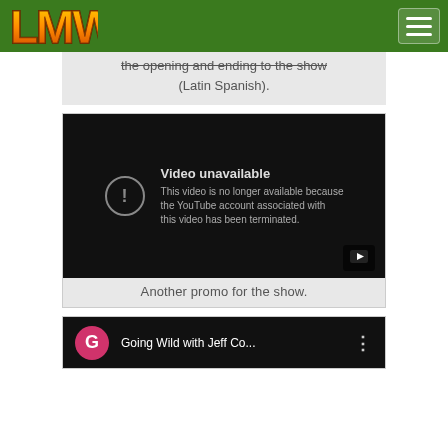LMW logo and navigation bar
the opening and ending to the show (Latin Spanish).
[Figure (screenshot): YouTube embedded video player showing error: 'Video unavailable - This video is no longer available because the YouTube account associated with this video has been terminated.']
Another promo for the show.
[Figure (screenshot): Partially visible YouTube video thumbnail showing 'Going Wild with Jeff Co...' with a pink G icon and three-dot menu.]